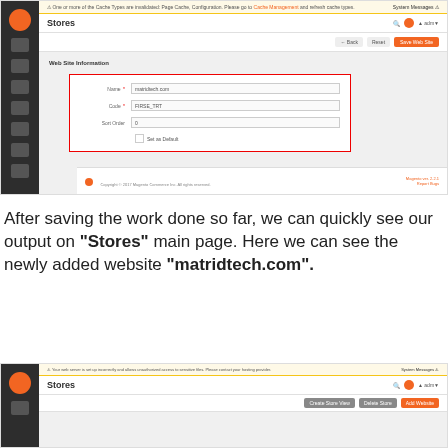[Figure (screenshot): Magento admin panel showing Web Site Information form with fields Name (matridtech.com), Code (FIRSE_TRT), Sort Order (0), and a red-bordered form box. Header shows Stores page title with Back, Reset, and Save Web Site buttons.]
After saving the work done so far, we can quickly see our output on "Stores" main page. Here we can see the newly added website "matridtech.com".
[Figure (screenshot): Magento admin panel showing Stores page with alert bar, page header with Stores title, and toolbar with Create Store View, Delete Store, and other buttons at bottom.]